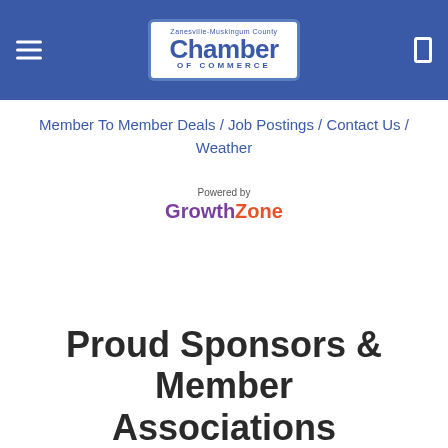Zanesville-Muskingum County Chamber of Commerce
Member To Member Deals / Job Postings / Contact Us / Weather
[Figure (logo): Powered by GrowthZone logo]
Proud Sponsors & Member Associations